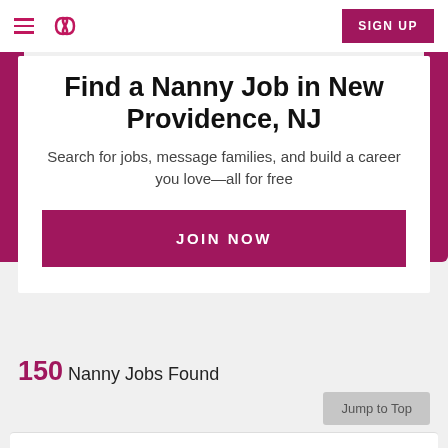SIGN UP
Find a Nanny Job in New Providence, NJ
Search for jobs, message families, and build a career you love—all for free
JOIN NOW
150 Nanny Jobs Found
Jump to Top